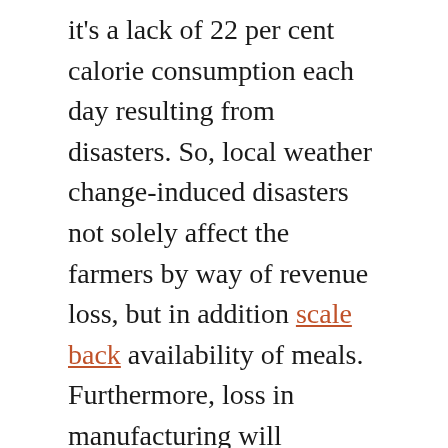it's a lack of 22 per cent calorie consumption each day resulting from disasters. So, local weather change-induced disasters not solely affect the farmers by way of revenue loss, but in addition scale back availability of meals. Furthermore, loss in manufacturing will increase costs which, in flip, influences folks's meals consumption. It's the local weather's meals lure that captures each one in all us.
We're a voice to you; you could have been a assist to us. Collectively we construct